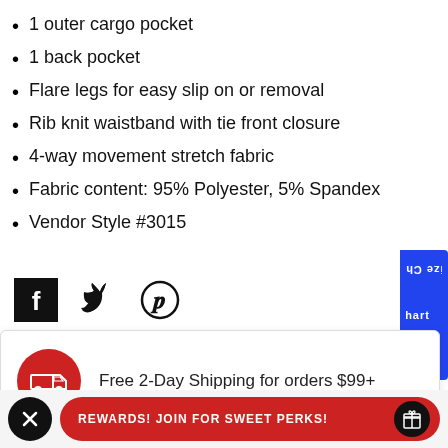1 outer cargo pocket
1 back pocket
Flare legs for easy slip on or removal
Rib knit waistband with tie front closure
4-way movement stretch fabric
Fabric content: 95% Polyester, 5% Spandex
Vendor Style #3015
[Figure (infographic): Social share icons: Facebook, Twitter, Pinterest]
[Figure (infographic): Size Chart tab (blue, vertical text)]
Free 2-Day Shipping for orders $99+
REWARDS! JOIN FOR SWEET PERKS!